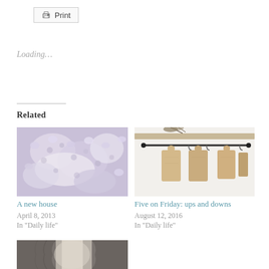Print
Loading...
Related
[Figure (photo): Close-up of a lavender/purple crochet fabric or knitted item]
A new house
April 8, 2013
In "Daily life"
[Figure (photo): Wooden cutting boards hanging on a rod against a white wall, with a shelf and plant above]
Five on Friday: ups and downs
August 12, 2016
In "Daily life"
[Figure (photo): Partial view of a room with curtains and light coming through a window]